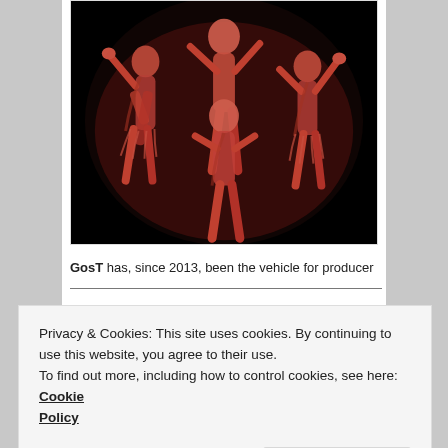[Figure (photo): Red-tinted image of multiple ghostly dancing figures against a black background, giving an eerie, overexposed look with reddish-pink tones.]
GosT has, since 2013, been the vehicle for producer
Privacy & Cookies: This site uses cookies. By continuing to use this website, you agree to their use.
To find out more, including how to control cookies, see here: Cookie Policy
Close and accept